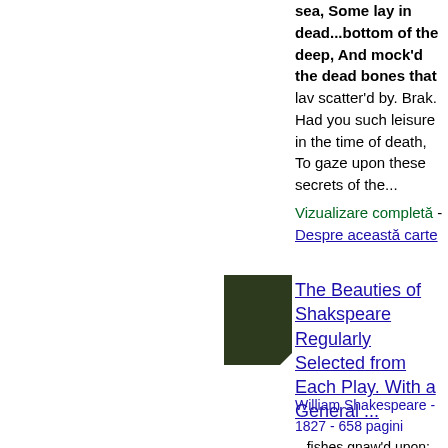sea, Some lay in dead...bottom of the deep, And mock'd the dead bones that lav scatter'd by. Brak. Had you such leisure in the time of death, To gaze upon these secrets of the...
Vizualizare completă - Despre această carte
[Figure (photo): Book cover - dark green/black colored book cover with folded bottom-right corner]
The Beauties of Shakspeare Regularly Selected from Each Play. With a General ...
William Shakespeare - 1827 - 658 pagini ...fishes gnaw'd upon; Wedges of